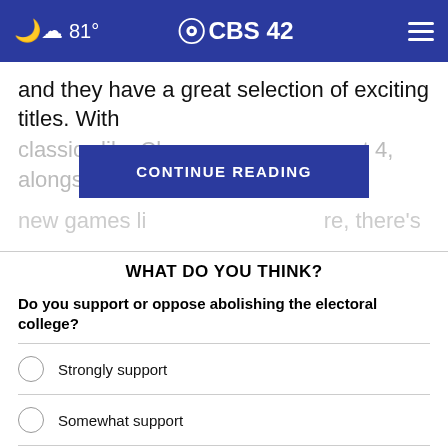🌙☁ 81° CBS42 ☰
and they have a great selection of exciting titles. With
classics like Cl[CONTINUE READING]t 4, alongside
new games lik[obscured]re, there's
WHAT DO YOU THINK?
Do you support or oppose abolishing the electoral college?
Strongly support
Somewhat support
Somewhat oppose
Strongly oppose
Other / No opinion